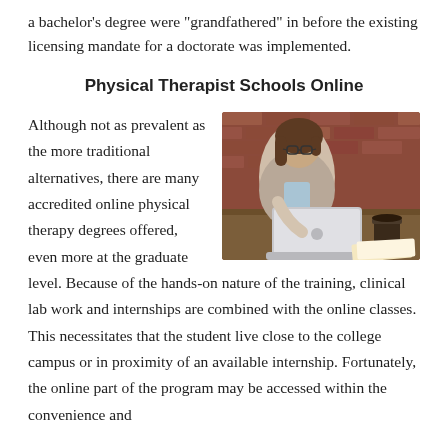a bachelor's degree were "grandfathered" in before the existing licensing mandate for a doctorate was implemented.
Physical Therapist Schools Online
[Figure (photo): A young woman with glasses sitting at a wooden desk working on an Apple MacBook laptop, with a brick wall in the background and a coffee cup nearby.]
Although not as prevalent as the more traditional alternatives, there are many accredited online physical therapy degrees offered, even more at the graduate level. Because of the hands-on nature of the training, clinical lab work and internships are combined with the online classes. This necessitates that the student live close to the college campus or in proximity of an available internship. Fortunately, the online part of the program may be accessed within the convenience and